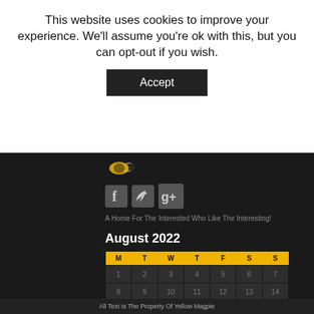This website uses cookies to improve your experience. We'll assume you're ok with this, but you can opt-out if you wish.
Accept
[Figure (logo): Website logo with bee/insect graphic]
[Figure (infographic): Social media icons: Facebook, Twitter, Google+]
A Home For The Interested Who Like The Interesting!
August 2022
| M | T | W | T | F | S | S |
| --- | --- | --- | --- | --- | --- | --- |
| 1 | 2 | 3 | 4 | 5 | 6 | 7 |
| 8 | 9 | 10 | 11 | 12 | 13 | 14 |
| 15 | 16 | 17 | 18 | 19 | 20 | 21 |
| 22 | 23 | 24 | 25 | 26 | 27 | 28 |
| 29 | 30 | 31 |  |  |  |  |
« Jun
All Text Is The Property Of Yellow Magpie